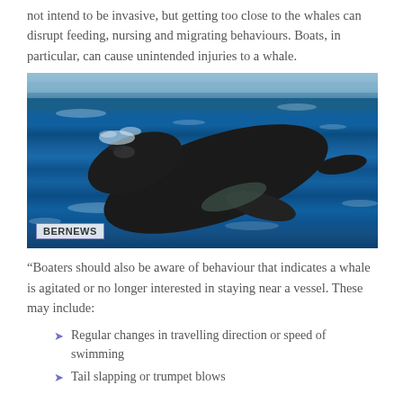not intend to be invasive, but getting too close to the whales can disrupt feeding, nursing and migrating behaviours. Boats, in particular, can cause unintended injuries to a whale.
[Figure (photo): A humpback whale breaching or surfacing from choppy blue ocean waters. Photo credit: BERNEWS watermark visible in lower left corner.]
“Boaters should also be aware of behaviour that indicates a whale is agitated or no longer interested in staying near a vessel. These may include:
Regular changes in travelling direction or speed of swimming
Tail slapping or trumpet blows